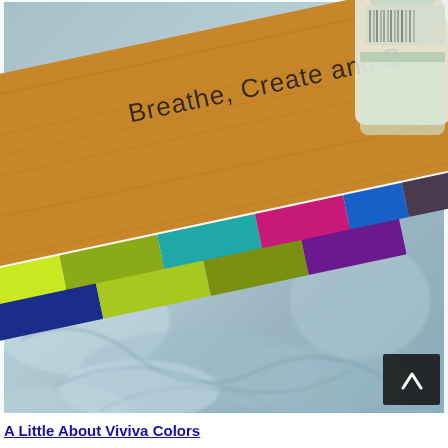[Figure (photo): A photo showing a wooden book or notebook with text 'Breathe, Create and B...' engraved or printed on it, with colorful paint swatches fanning out from the pages (blue, yellow-green, olive, purple, teal, magenta, blue, dark gray), alongside a transparent spray bottle, all resting on a blue-gray marbled surface. A dark square button with a white up-arrow chevron is visible in the bottom-right corner of the image.]
A Little About Viviva Colors